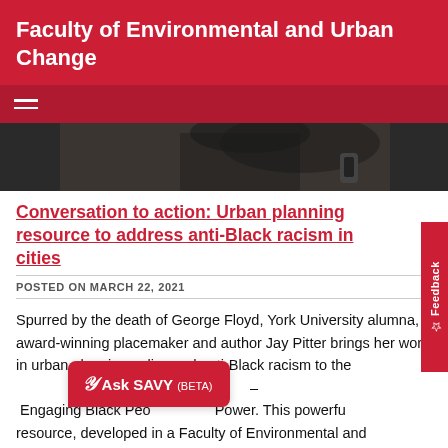Faculty of Environmental and Urban Change
Conversation to action: Urban planning resource to address anti-Black racism in cities
POSTED ON MARCH 22, 2021
Spurred by the death of George Floyd, York University alumna, award-winning placemaker and author Jay Pitter brings her work in urban planning policy and anti-Black racism to the – Engaging Black People and Power. This powerful resource, developed in a Faculty of Environmental and
[Figure (screenshot): Ask SAVY (BETA) chat button overlay in red]
[Figure (photo): Dark background hero image showing a person holding a phone]
[Figure (other): Feedback vertical tab on right side]